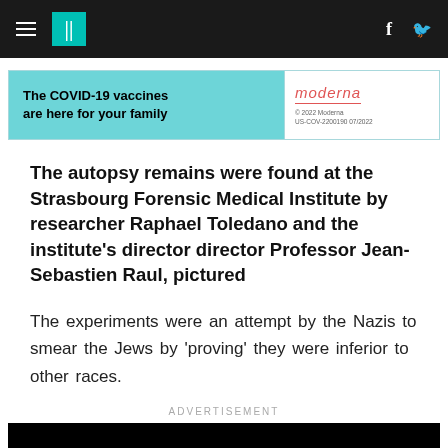HuffPost navigation bar with hamburger menu, logo, Facebook and Twitter icons
[Figure (other): Moderna COVID-19 vaccine advertisement banner: 'The COVID-19 vaccines are here for your family' with Moderna logo]
The autopsy remains were found at the Strasbourg Forensic Medical Institute by researcher Raphael Toledano and the institute's director director Professor Jean-Sebastien Raul, pictured
The experiments were an attempt by the Nazis to smear the Jews by 'proving' they were inferior to other races.
ADVERTISEMENT